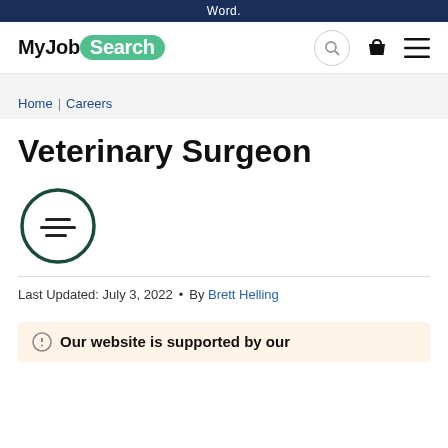Word.
[Figure (logo): MyJobSearch logo with green pill badge reading 'Search', plus search icon, bag icon, and hamburger menu icon]
Home | Careers
Veterinary Surgeon
[Figure (illustration): Circular icon with horizontal lines resembling a table of contents]
Last Updated: July 3, 2022 • By Brett Helling
Our website is supported by our